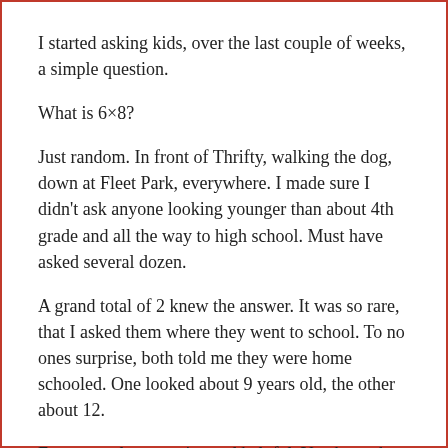I started asking kids, over the last couple of weeks, a simple question.
What is 6×8?
Just random. In front of Thrifty, walking the dog, down at Fleet Park, everywhere. I made sure I didn't ask anyone looking younger than about 4th grade and all the way to high school. Must have asked several dozen.
A grand total of 2 knew the answer. It was so rare, that I asked them where they went to school. To no ones surprise, both told me they were home schooled. One looked about 9 years old, the other about 12.
Everyone else was nice and helpful. You know how the kids in Monte are. "gee, they didn't teach me that". "let me look it up on my phone for you". One called his mother to "help